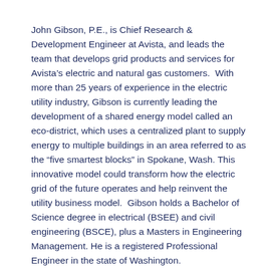John Gibson, P.E., is Chief Research & Development Engineer at Avista, and leads the team that develops grid products and services for Avista's electric and natural gas customers.  With more than 25 years of experience in the electric utility industry, Gibson is currently leading the development of a shared energy model called an eco-district, which uses a centralized plant to supply energy to multiple buildings in an area referred to as the “five smartest blocks” in Spokane, Wash. This innovative model could transform how the electric grid of the future operates and help reinvent the utility business model.  Gibson holds a Bachelor of Science degree in electrical (BSEE) and civil engineering (BSCE), plus a Masters in Engineering Management. He is a registered Professional Engineer in the state of Washington.